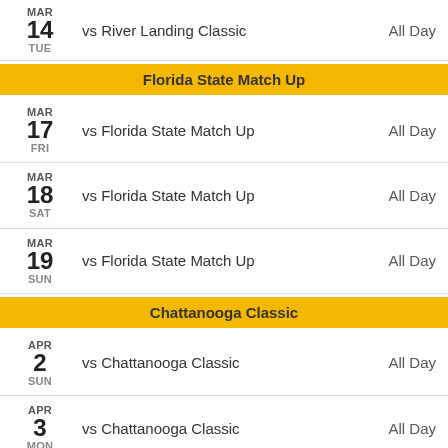MAR 14 TUE — vs River Landing Classic — All Day
Florida State Match Up
MAR 17 FRI — vs Florida State Match Up — All Day
MAR 18 SAT — vs Florida State Match Up — All Day
MAR 19 SUN — vs Florida State Match Up — All Day
Chattanooga Classic
APR 2 SUN — vs Chattanooga Classic — All Day
APR 3 MON — vs Chattanooga Classic — All Day